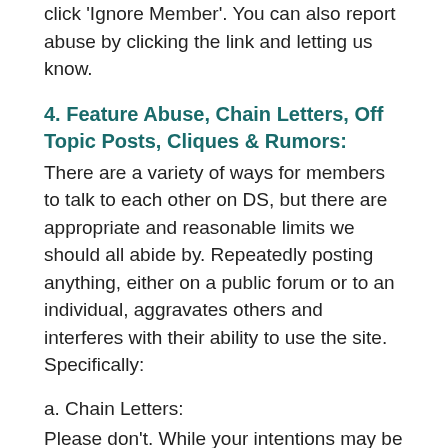click 'Ignore Member'. You can also report abuse by clicking the link and letting us know.
4. Feature Abuse, Chain Letters, Off Topic Posts, Cliques & Rumors:
There are a variety of ways for members to talk to each other on DS, but there are appropriate and reasonable limits we should all abide by. Repeatedly posting anything, either on a public forum or to an individual, aggravates others and interferes with their ability to use the site. Specifically:
a. Chain Letters:
Please don't. While your intentions may be admirable, our members can easily be overwhelmed with alerts and messages. Our system was designed for personal communication; please use it that way.
b. Reposting Topics:
Posts in DS forums should be original and unique. Reposting an discussion topic or article is generally a bad